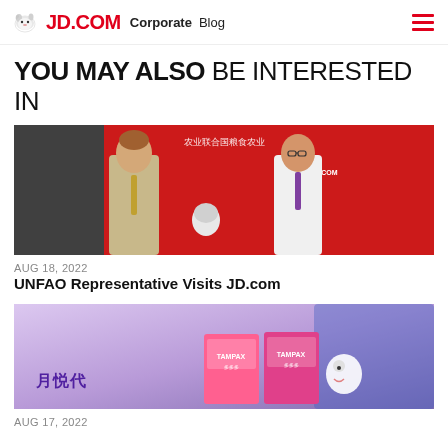JD.COM Corporate Blog
YOU MAY ALSO BE INTERESTED IN
[Figure (photo): Two men standing in front of a red JD.com branded backdrop with Chinese text]
AUG 18, 2022
UNFAO Representative Visits JD.com
[Figure (photo): Product display with tampon boxes on a purple/lavender background with Chinese brand text]
AUG 17, 2022